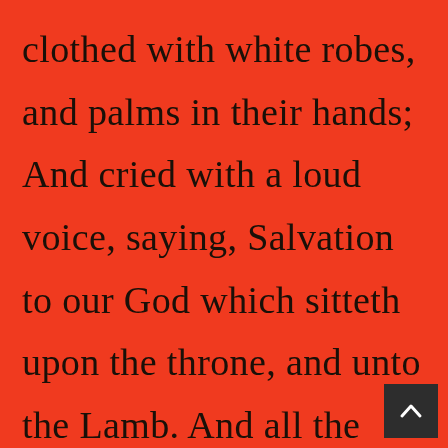clothed with white robes, and palms in their hands; And cried with a loud voice, saying, Salvation to our God which sitteth upon the throne, and unto the Lamb. And all the angels stood round about the throne, and about the elders an